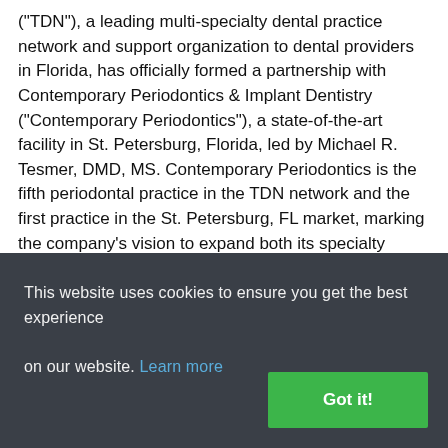("TDN"), a leading multi-specialty dental practice network and support organization to dental providers in Florida, has officially formed a partnership with Contemporary Periodontics & Implant Dentistry ("Contemporary Periodontics"), a state-of-the-art facility in St. Petersburg, Florida, led by Michael R. Tesmer, DMD, MS. Contemporary Periodontics is the fifth periodontal practice in the TDN network and the first practice in the St. Petersburg, FL market, marking the company's vision to expand both its specialty practice and geographical reach.
"We believe partnering with top specialty practices serves as a key entry point to expanding TDN's footprint into new geographical markets," says Kevin Krause, DMD, chief executive officer for
This website uses cookies to ensure you get the best experience on our website. Learn more
Got it!